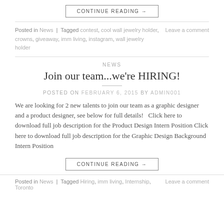CONTINUE READING →
Posted in News | Tagged contest, cool wall jewelry holder, crowns, giveaway, imm living, instagram, wall jewelry holder   Leave a comment
NEWS
Join our team...we're HIRING!
POSTED ON FEBRUARY 6, 2015 BY ADMIN001
We are looking for 2 new talents to join our team as a graphic designer and a product designer, see below for full details!   Click here to download full job description for the Product Design Intern Position Click here to download full job description for the Graphic Design Background Intern Position
CONTINUE READING →
Posted in News | Tagged Hiring, imm living, Internship, Toronto   Leave a comment